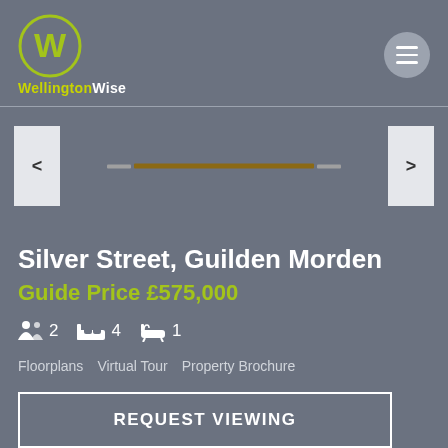[Figure (logo): WellingtonWise logo: circular green outline with a bold W, and brand name below]
Silver Street, Guilden Morden
Guide Price £575,000
2 receptions, 4 bedrooms, 1 bathroom
Floorplans   Virtual Tour   Property Brochure
REQUEST VIEWING